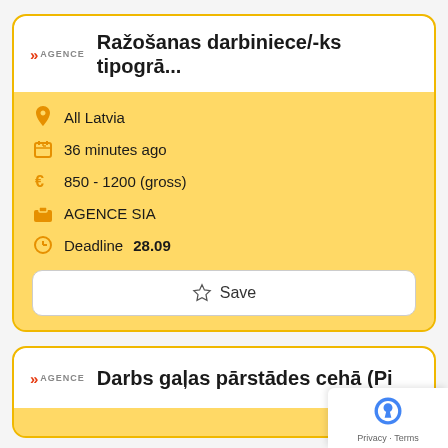[Figure (logo): AGENCE logo with double chevron in red]
Ražošanas darbiniece/-ks tipogrā...
All Latvia
36 minutes ago
850 - 1200 (gross)
AGENCE SIA
Deadline 28.09
Save
[Figure (logo): AGENCE logo with double chevron in red]
Darbs gaļas pārstādes cehā (Pi